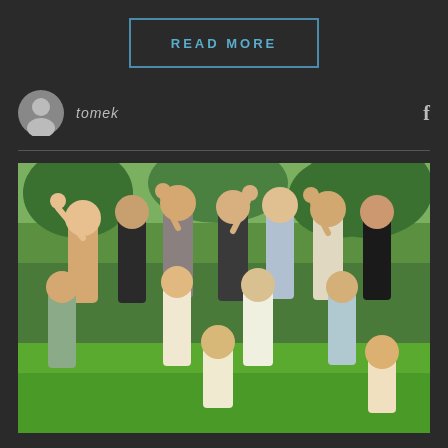READ MORE
tomek
[Figure (photo): Group photo of approximately 13 young girls waving and smiling outdoors on green grass with trees in the background]